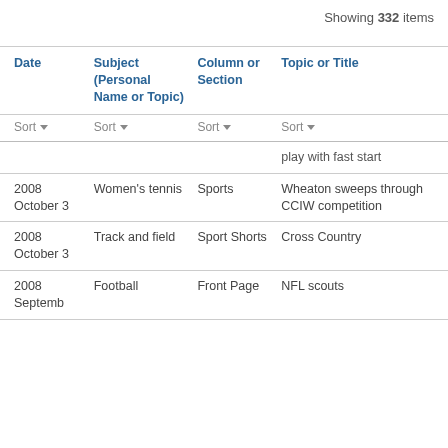Showing 332 items
| Date | Subject (Personal Name or Topic) | Column or Section | Topic or Title |
| --- | --- | --- | --- |
|  |  |  | [play with fast start] |
| 2008 October 3 | Women's tennis | Sports | Wheaton sweeps through CCIW competition |
| 2008 October 3 | Track and field | Sport Shorts | Cross Country |
| 2008 September | Football | Front Page | NFL scouts |